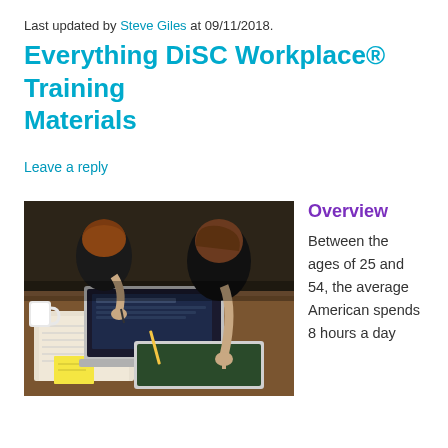Last updated by Steve Giles at 09/11/2018.
Everything DiSC Workplace® Training Materials
Leave a reply
[Figure (photo): Two people working at a table with a laptop, tablet, and papers. One person is writing notes while another is pointing at a tablet screen.]
Overview
Between the ages of 25 and 54, the average American spends 8 hours a day